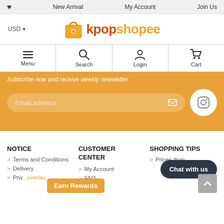♥  New Arrival  My Account  Join Us
[Figure (logo): kpopshopee logo with shopping bag icon]
USD ▾
Menu  Search  Login  Cart
Subscribe now and receive weekly newsletter
Email address
NOTICE
CUSTOMER CENTER
SHOPPING TIPS
> Terms and Conditions
> Delivery
> Priv...
> My Account
> FAQ
> Prices drop
Chat with us
Earn Rewards